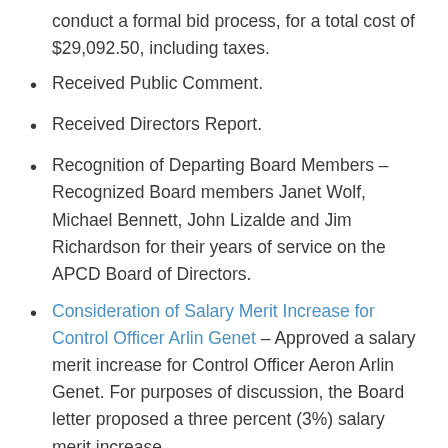conduct a formal bid process, for a total cost of $29,092.50, including taxes.
Received Public Comment.
Received Directors Report.
Recognition of Departing Board Members – Recognized Board members Janet Wolf, Michael Bennett, John Lizalde and Jim Richardson for their years of service on the APCD Board of Directors.
Consideration of Salary Merit Increase for Control Officer Arlin Genet – Approved a salary merit increase for Control Officer Aeron Arlin Genet.  For purposes of discussion, the Board letter proposed a three percent (3%) salary merit increase.